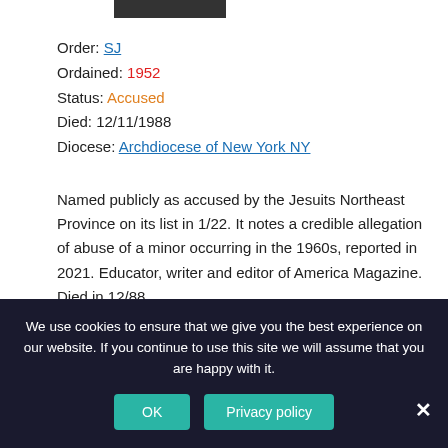[Figure (photo): Small cropped photograph of a person, partially visible at top]
Order: SJ
Ordained: 1952
Status: Accused
Died: 12/11/1988
Diocese: Archdiocese of New York NY
Named publicly as accused by the Jesuits Northeast Province on its list in 1/22. It notes a credible allegation of abuse of a minor occurring in the 1960s, reported in 2021. Educator, writer and editor of America Magazine. Died in 12/88.
We use cookies to ensure that we give you the best experience on our website. If you continue to use this site we will assume that you are happy with it.